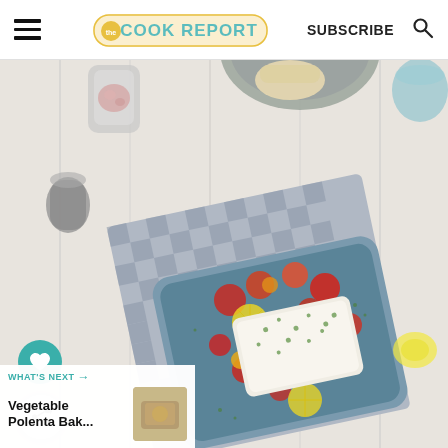THE COOK REPORT | SUBSCRIBE
[Figure (photo): Overhead view of a baked feta dish in a blue ceramic baking dish with cherry tomatoes, lemon slices, and green herbs on a checkered grey napkin on a white wooden surface, surrounded by kitchen props including salt, a pepper mill, bread, and a glass of water.]
WHAT'S NEXT →
Vegetable Polenta Bak...